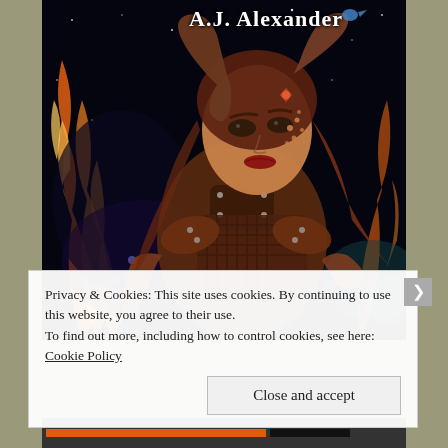[Figure (illustration): Book cover showing a woman with ram horns, dramatic fantasy make-up, brown leather armor, and fiery/cosmic background. Author name 'A.J. Alexander' at top in white text.]
Privacy & Cookies: This site uses cookies. By continuing to use this website, you agree to their use.
To find out more, including how to control cookies, see here: Cookie Policy
Close and accept